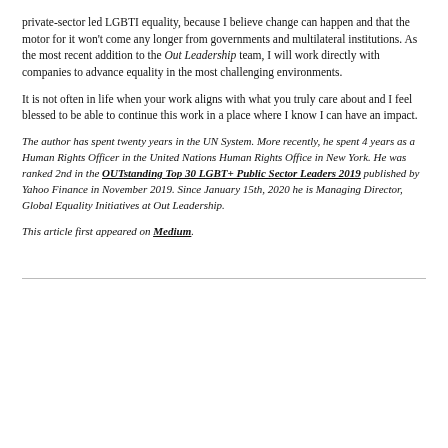private-sector led LGBTI equality, because I believe change can happen and that the motor for it won't come any longer from governments and multilateral institutions. As the most recent addition to the Out Leadership team, I will work directly with companies to advance equality in the most challenging environments.
It is not often in life when your work aligns with what you truly care about and I feel blessed to be able to continue this work in a place where I know I can have an impact.
The author has spent twenty years in the UN System. More recently, he spent 4 years as a Human Rights Officer in the United Nations Human Rights Office in New York. He was ranked 2nd in the OUTstanding Top 30 LGBT+ Public Sector Leaders 2019 published by Yahoo Finance in November 2019. Since January 15th, 2020 he is Managing Director, Global Equality Initiatives at Out Leadership.
This article first appeared on Medium.